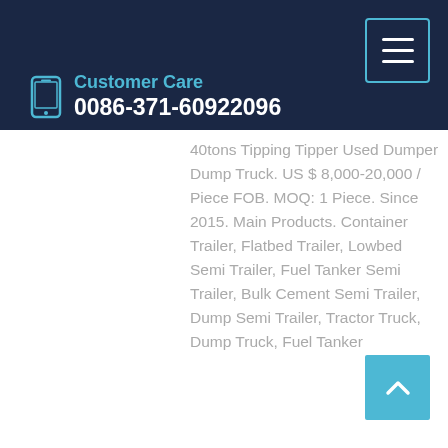Customer Care 0086-371-60922096
40tons Tipping Tipper Used Dumper Dump Truck. US $ 8,000-20,000 / Piece FOB. MOQ: 1 Piece. Since 2015. Main Products. Container Trailer, Flatbed Trailer, Lowbed Semi Trailer, Fuel Tanker Semi Trailer, Bulk Cement Semi Trailer, Dump Semi Trailer, Tractor Truck, Dump Truck, Fuel Tanker
Learn More